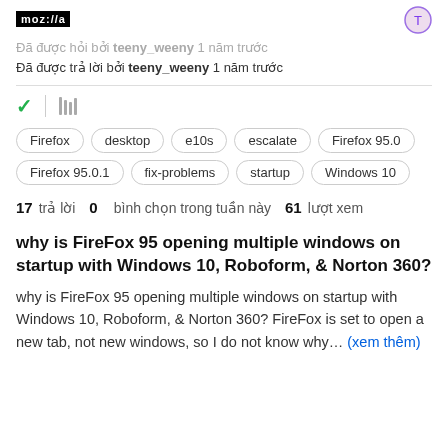mozilla
Đã được hỏi bởi teeny_weeny 1 năm trước
Đã được trả lời bởi teeny_weeny 1 năm trước
[Figure (other): Check mark icon and library/bookmark icon]
Firefox
desktop
e10s
escalate
Firefox 95.0
Firefox 95.0.1
fix-problems
startup
Windows 10
17 trả lời  0 bình chọn trong tuần này  61 lượt xem
why is FireFox 95 opening multiple windows on startup with Windows 10, Roboform, & Norton 360?
why is FireFox 95 opening multiple windows on startup with Windows 10, Roboform, & Norton 360? FireFox is set to open a new tab, not new windows, so I do not know why... (xem thêm)